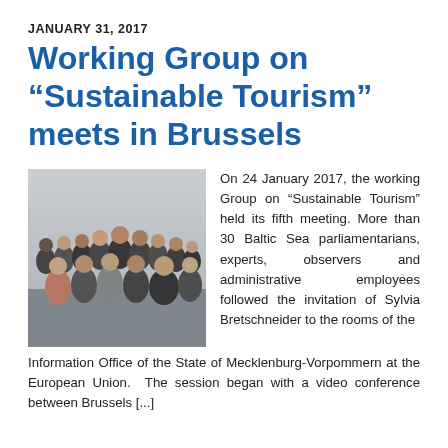JANUARY 31, 2017
Working Group on “Sustainable Tourism” meets in Brussels
[Figure (photo): Group photo of more than 30 Baltic Sea parliamentarians, experts, observers and administrative employees gathered in a room in Brussels.]
On 24 January 2017, the working Group on “Sustainable Tourism” held its fifth meeting. More than 30 Baltic Sea parliamentarians, experts, observers and administrative employees followed the invitation of Sylvia Bretschneider to the rooms of the Information Office of the State of Mecklenburg-Vorpommern at the European Union. The session began with a video conference between Brussels [...]